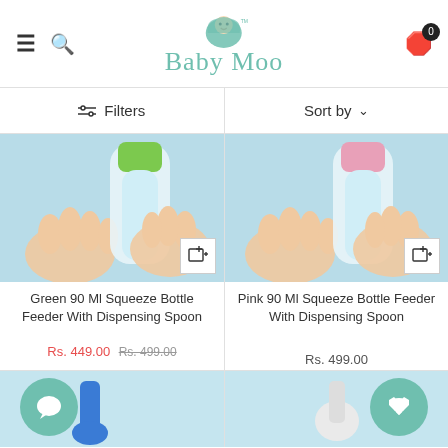Baby Moo
Filters
Sort by
[Figure (photo): Baby hand holding a green 90ml squeeze bottle feeder on blue background]
Green 90 Ml Squeeze Bottle Feeder With Dispensing Spoon
Rs. 449.00  Rs. 499.00
[Figure (photo): Baby hand holding a pink 90ml squeeze bottle feeder on blue background]
Pink 90 Ml Squeeze Bottle Feeder With Dispensing Spoon
Rs. 499.00
[Figure (photo): Partial view of blue product on light blue background]
[Figure (photo): Partial view of white product on light blue background]